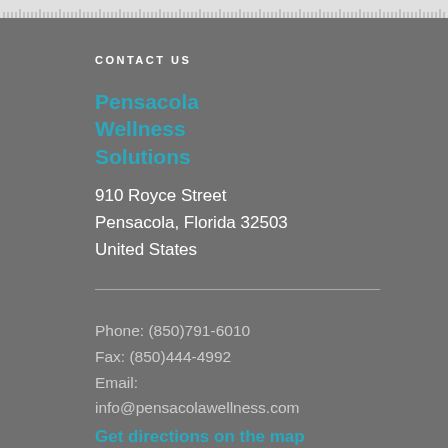[ruler]
CONTACT US
Pensacola Wellness Solutions
910 Royce Street
Pensacola, Florida 32503
United States
Phone: (850)791-6010
Fax: (850)444-4992
Email:
info@pensacolawellness.com
Get directions on the map